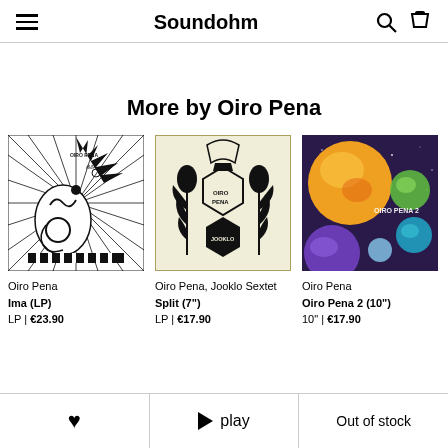Soundohm
More by Oiro Pena
[Figure (illustration): Album cover for Oiro Pena - Ima (LP): black and white psychedelic comic-style illustration with surreal figures and radiating lines, text OIRO PENA and IMA]
Oiro Pena
Ima (LP)
LP | €23.90
[Figure (illustration): Album cover for Oiro Pena, Jooklo Sextet - Split (7"): cream/beige background with black botanical/floral illustrations and hexagonal logo in center]
Oiro Pena, Jooklo Sextet
Split (7")
LP | €17.90
[Figure (illustration): Album cover for Oiro Pena 2 (10"): colorful space scene with planet-like spheres in yellow, orange, purple, green, blue on dark galaxy background, text OIRO PENA 2]
Oiro Pena
Oiro Pena 2 (10")
10" | €17.90
♥   ▶ play   Out of stock